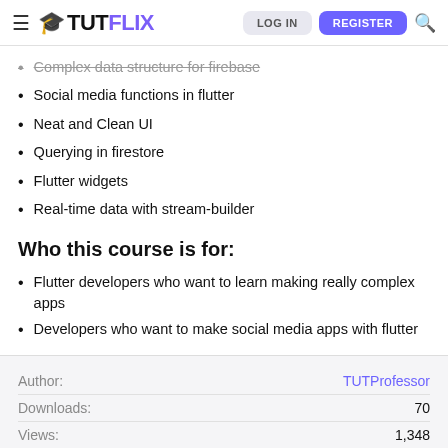TUTFLIX — LOG IN | REGISTER
Complex data structure for firebase
Social media functions in flutter
Neat and Clean UI
Querying in firestore
Flutter widgets
Real-time data with stream-builder
Who this course is for:
Flutter developers who want to learn making really complex apps
Developers who want to make social media apps with flutter
👍😍 Lost2Dreamer, justl, badasscoder123 and 80 others
Author: TUTProfessor | Downloads: 70 | Views: 1,348